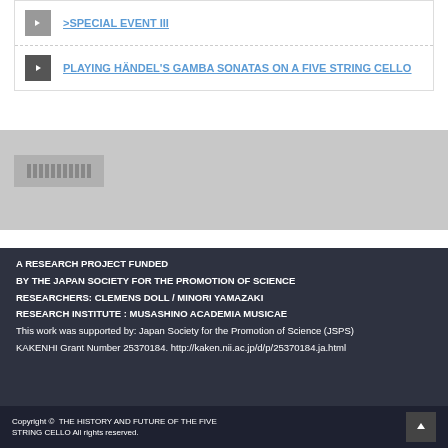>SPECIAL EVENT III
PLAYING HÄNDEL'S GAMBA SONATAS ON A FIVE STRING CELLO
A RESEARCH PROJECT FUNDED
BY THE JAPAN SOCIETY FOR THE PROMOTION OF SCIENCE
RESEARCHERS: CLEMENS DOLL / MINORI YAMAZAKI
RESEARCH INSTITUTE : MUSASHINO ACADEMIA MUSICAE
This work was supported by: Japan Society for the Promotion of Science (JSPS)
KAKENHI Grant Number 25370184. http://kaken.nii.ac.jp/d/p/25370184.ja.html
Copyright © THE HISTORY AND FUTURE OF THE FIVE STRING CELLO All rights reserved.